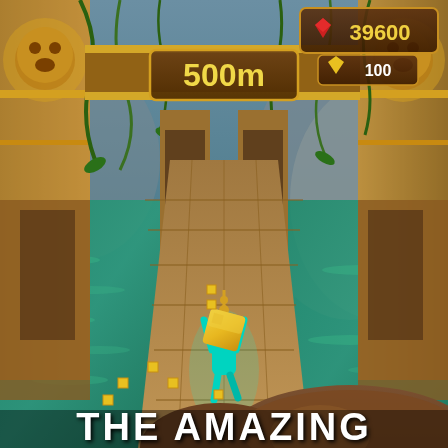[Figure (screenshot): Temple Run 2 mobile game screenshot. A teal/cyan colored runner character holds a golden idol above their head while running on stone bridge pathway flanked by ancient temple pillars. Green vines drape from above. Score shows 39600 in top right corner with a gem count of 100. Distance marker shows 500m in the center top. Yellow coins are scattered on the path. Water and cliffs visible on sides. A large creature (gorilla) is visible at the bottom of the screen chasing the runner.]
THE AMAZING